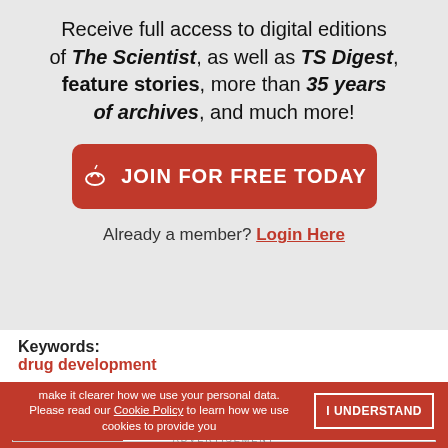Receive full access to digital editions of The Scientist, as well as TS Digest, feature stories, more than 35 years of archives, and much more!
JOIN FOR FREE TODAY
Already a member? Login Here
Keywords:
drug development
make it clearer how we use your personal data. Please read our Cookie Policy to learn how we use cookies to provide you
I UNDERSTAND
[Figure (infographic): ThermoFisher Scientific advertisement banner: Funding opportunities for crucial cancer research, Apply now button]
ADVERTISEMENT